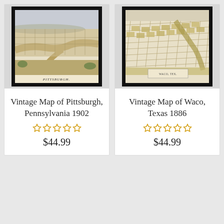[Figure (map): Vintage aerial bird's-eye view map of Pittsburgh, Pennsylvania in a black frame]
Vintage Map of Pittsburgh, Pennsylvania 1902
★★★★★ (empty stars rating)
$44.99
[Figure (map): Vintage aerial bird's-eye view map of Waco, Texas in a black frame]
Vintage Map of Waco, Texas 1886
★★★★★ (empty stars rating)
$44.99